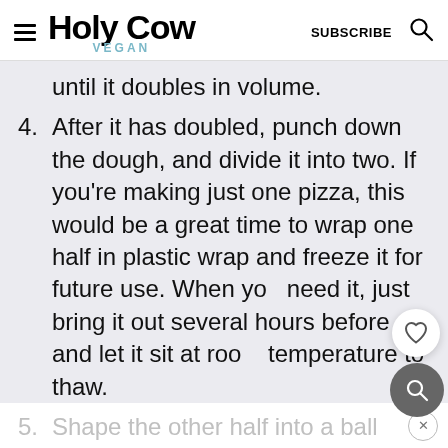Holy Cow Vegan — SUBSCRIBE
until it doubles in volume.
4. After it has doubled, punch down the dough, and divide it into two. If you're making just one pizza, this would be a great time to wrap one half in plastic wrap and freeze it for future use. When you need it, just bring it out several hours before and let it sit at room temperature to thaw.
5. Shape the other half into a ball